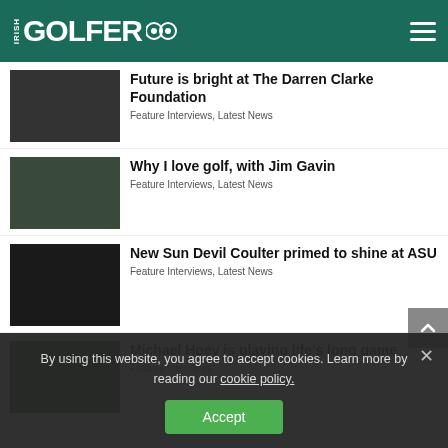IRISH GOLFER
Future is bright at The Darren Clarke Foundation
Feature Interviews, Latest News
Why I love golf, with Jim Gavin
Feature Interviews, Latest News
New Sun Devil Coulter primed to shine at ASU
Feature Interviews, Latest News
Michael Hoey is playing life's long game
Feature Interviews
By using this website, you agree to accept cookies. Learn more by reading our cookie policy.
Accept